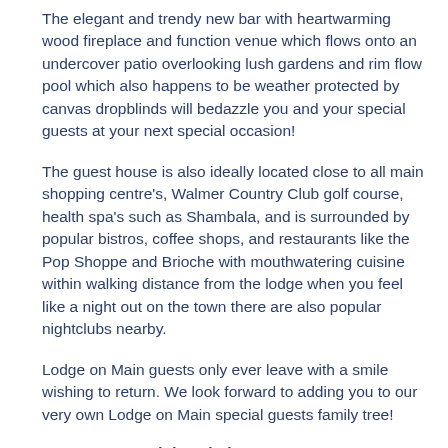The elegant and trendy new bar with heartwarming wood fireplace and function venue which flows onto an undercover patio overlooking lush gardens and rim flow pool which also happens to be weather protected by canvas dropblinds will bedazzle you and your special guests at your next special occasion!
The guest house is also ideally located close to all main shopping centre's, Walmer Country Club golf course, health spa's such as Shambala, and is surrounded by popular bistros, coffee shops, and restaurants like the Pop Shoppe and Brioche with mouthwatering cuisine within walking distance from the lodge when you feel like a night out on the town there are also popular nightclubs nearby.
Lodge on Main guests only ever leave with a smile wishing to return. We look forward to adding you to our very own Lodge on Main special guests family tree!
Room types and descriptions: